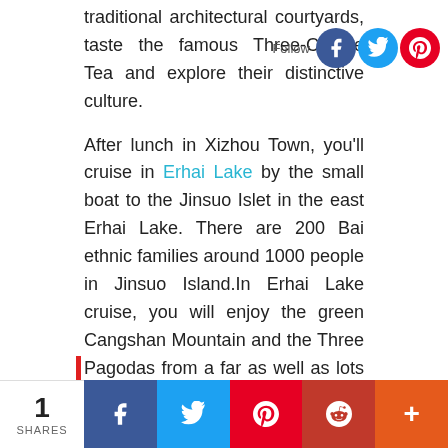traditional architectural courtyards, taste the famous Three-Course Tea and explore their distinctive culture.
After lunch in Xizhou Town, you'll cruise in Erhai Lake by the small boat to the Jinsuo Islet in the east Erhai Lake. There are 200 Bai ethnic families around 1000 people in Jinsuo Island.In Erhai Lake cruise, you will enjoy the green Cangshan Mountain and the Three Pagodas from a far as well as lots of birds and seagulls flying over the lake.
Afterwards, drive to visit Three Pagodas in Chongshen Temple which has a history of over 1,800 years located at the foot of Cangshan Mountain facing to the Erhai Lake. Three Pagodas are made of three ancient independent pagodas forming a symmetrical triangle.
1 SHARES | Facebook | Twitter | Pinterest | Reddit | More